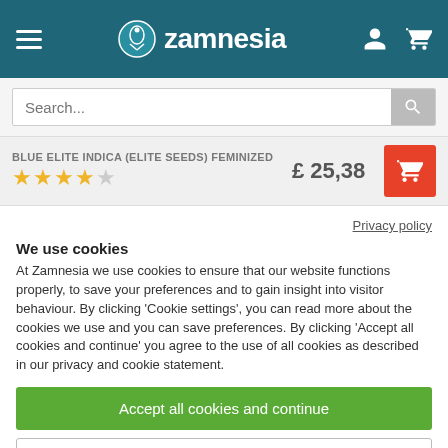[Figure (screenshot): Zamnesia website header with hamburger menu, logo, user icon and cart icon on teal background]
[Figure (screenshot): Search bar with placeholder text 'Search...' and magnifying glass icon]
BLUE ELITE INDICA (ELITE SEEDS) FEMINIZED
£ 25,38
Privacy policy
We use cookies
At Zamnesia we use cookies to ensure that our website functions properly, to save your preferences and to gain insight into visitor behaviour. By clicking 'Cookie settings', you can read more about the cookies we use and you can save preferences. By clicking 'Accept all cookies and continue' you agree to the use of all cookies as described in our privacy and cookie statement.
Accept all cookies and continue
Cookie settings